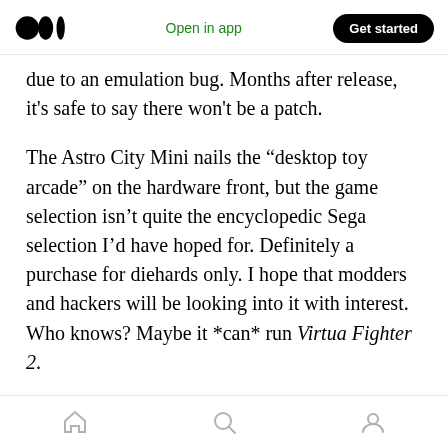Open in app | Get started
due to an emulation bug. Months after release, it's safe to say there won't be a patch.
The Astro City Mini nails the “desktop toy arcade” on the hardware front, but the game selection isn’t quite the encyclopedic Sega selection I’d have hoped for. Definitely a purchase for diehards only. I hope that modders and hackers will be looking into it with interest. Who knows? Maybe it *can* run Virtua Fighter 2.
As with the Game Gear Micro, there will probably not be a Western release of the Astro City Mini,
home | search | profile